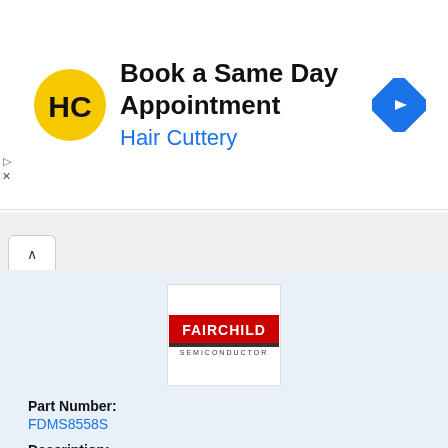[Figure (logo): Hair Cuttery logo - yellow circle with HC letters in black]
Book a Same Day Appointment
Hair Cuttery
[Figure (logo): Blue diamond navigation/directions icon]
[Figure (logo): Fairchild Semiconductor logo - red bar with FAIRCHILD text and SEMICONDUCTOR below]
Part Number:
FDMS8558S
Description:
This N-Channel SyncFET◆ is produced using Fairchild Semiconductor◆s advanced PowerTrench◆ process
Manufacturer:
Fairchild Semiconductor
Datasheet:
FDMS8558S.pdf (8 pages)